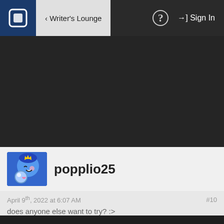< Writer's Lounge   ? → Sign In
[Figure (screenshot): Dark background main content area of a web forum, mostly empty]
popplio25
April 9th, 2022 at 6:07 AM   #10
does anyone else want to try? :>